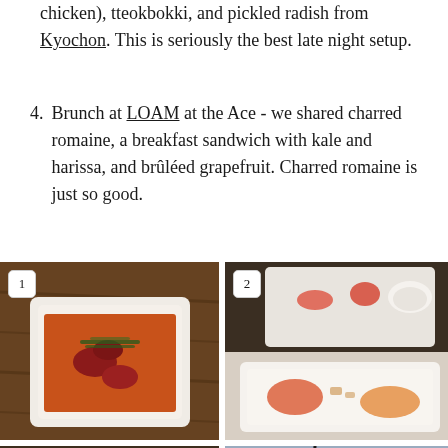chicken), tteokbokki, and pickled radish from Kyochon. This is seriously the best late night setup.
4. Brunch at LOAM at the Ace - we shared charred romaine, a breakfast sandwich with kale and harissa, and brûléed grapefruit. Charred romaine is just so good.
[Figure (photo): Photo 1: A white square bowl with red/orange broth and pieces of meat with herbs on a dark wooden table]
[Figure (photo): Photo 2: A white rectangular plate with salmon-colored food items and small garnishes, with another plate visible in background]
[Figure (photo): Photo 3: A triangular dark food item (possibly onigiri/rice ball) on a white plate on a dark surface]
[Figure (photo): Photo 4: A smoothie or drink with a straw and lime garnish, with a glass of water visible beside it]